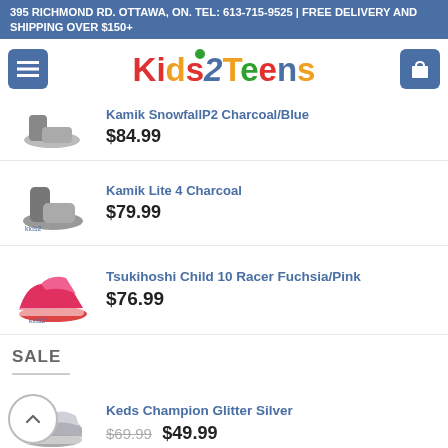395 RICHMOND RD. OTTAWA, ON. TEL: 613-715-9525 | FREE DELIVERY AND SHIPPING OVER $150+
[Figure (logo): Kids2Teens logo with hamburger menu button and shopping bag icon]
Kamik Snowfall P2 Charcoal/Blue
$84.99
Kamik Lite 4 Charcoal
$79.99
Tsukihoshi Child 10 Racer Fuchsia/Pink
$76.99
SALE
Keds Champion Glitter Silver
$69.99  $49.99
Keds Champion Glitter Navy
$69.99  $49.99